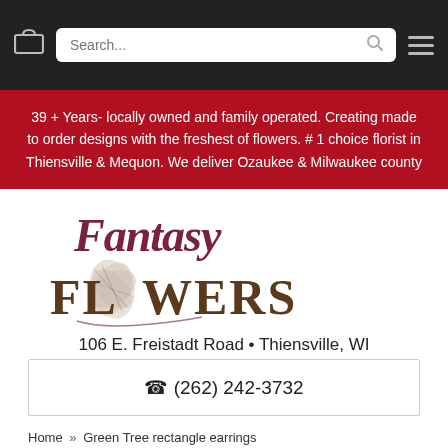Navigation bar with cart, search, and menu
39 + Years- locally owned and family operated. Creating made to order designs with the freshest of flowers. # 1 choice florist in Thiensville & Mequon. We deliver Ozaukee & Milwaukee county
[Figure (logo): Fantasy Flowers logo with cursive 'Fantasy' text in dark red/maroon and large serif 'FLOWERS' text with a flower illustration replacing the 'O']
106 E. Freistadt Road • Thiensville, WI
☎ (262) 242-3732
Home » Green Tree rectangle earrings